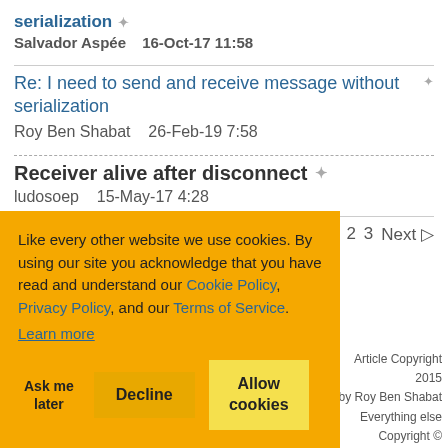serialization
Salvador Aspée    16-Oct-17 11:58
Re: I need to send and receive message without serialization
Roy Ben Shabat    26-Feb-19 7:58
Receiver alive after disconnect
ludosoep    15-May-17 4:28
Refresh
1  2  3  Next ▷
Like every other website we use cookies. By using our site you acknowledge that you have read and understand our Cookie Policy, Privacy Policy, and our Terms of Service. Learn more
Ask me later    Decline    Allow cookies
Article Copyright 2015 by Roy Ben Shabat Everything else Copyright © CodeProject, 1999-2022
Web02 2.8:2022-09- 02:1